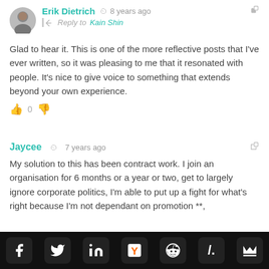[Figure (photo): Avatar photo of Erik Dietrich, a circular profile picture of a man]
Erik Dietrich  8 years ago
Reply to Kain Shin
Glad to hear it. This is one of the more reflective posts that I've ever written, so it was pleasing to me that it resonated with people. It's nice to give voice to something that extends beyond your own experience.
0
Jaycee  7 years ago
My solution to this has been contract work. I join an organisation for 6 months or a year or two, get to largely ignore corporate politics, I'm able to put up a fight for what's right because I'm not dependant on promotion **,
[Figure (infographic): Social sharing bar with icons for Facebook, Twitter, LinkedIn, Hacker News, Reddit, slash.dot, and a crown icon]